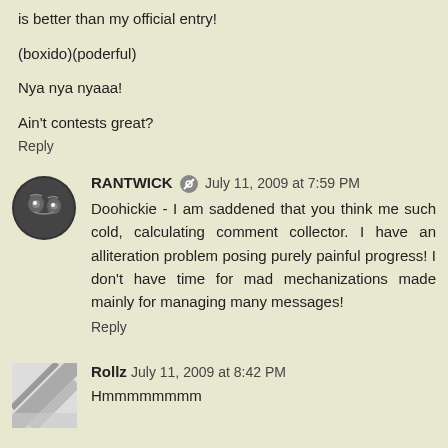is better than my official entry!
(boxido)(poderful)
Nya nya nyaaa!
Ain't contests great?
Reply
RANTWICK  July 11, 2009 at 7:59 PM
Doohickie - I am saddened that you think me such cold, calculating comment collector. I have an alliteration problem posing purely painful progress! I don't have time for mad mechanizations made mainly for managing many messages!
Reply
Rollz  July 11, 2009 at 8:42 PM
Hmmmmmmmm